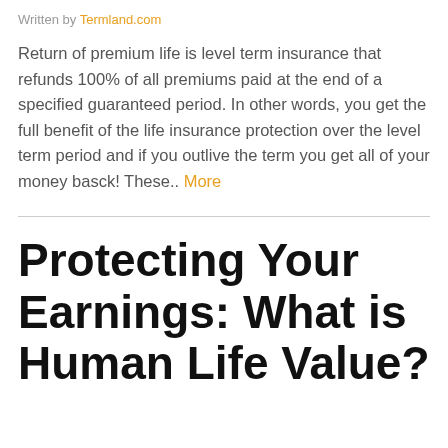Written by Termland.com
Return of premium life is level term insurance that refunds 100% of all premiums paid at the end of a specified guaranteed period. In other words, you get the full benefit of the life insurance protection over the level term period and if you outlive the term you get all of your money basck! These.. More
Protecting Your Earnings: What is Human Life Value?